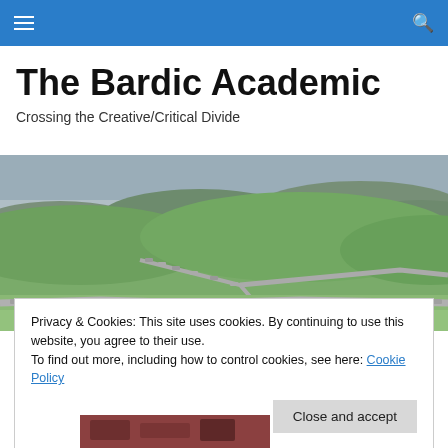The Bardic Academic — navigation header with menu and search icons
The Bardic Academic
Crossing the Creative/Critical Divide
[Figure (photo): Wide landscape photo of rolling green hills with a stone wall (Hadrian's Wall area) running through the countryside under an overcast sky.]
Privacy & Cookies: This site uses cookies. By continuing to use this website, you agree to their use.
To find out more, including how to control cookies, see here: Cookie Policy
Close and accept